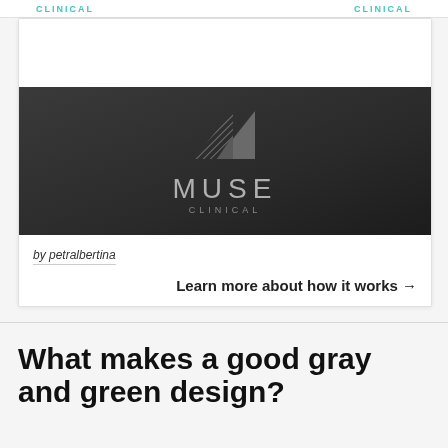CLINICAL   CLINICAL
[Figure (logo): Muse Clinical logo on dark background with geometric triangular icon above text 'MUSE CLINICAL']
by petralbertina
Learn more about how it works →
What makes a good gray and green design?